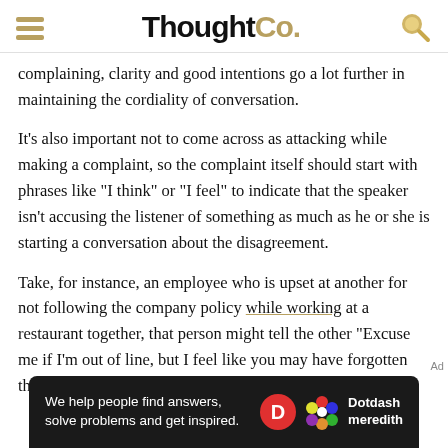ThoughtCo.
complaining, clarity and good intentions go a lot further in maintaining the cordiality of conversation.
It's also important not to come across as attacking while making a complaint, so the complaint itself should start with phrases like "I think" or "I feel" to indicate that the speaker isn't accusing the listener of something as much as he or she is starting a conversation about the disagreement.
Take, for instance, an employee who is upset at another for not following the company policy while working at a restaurant together, that person might tell the other "Excuse me if I'm out of line, but I feel like you may have forgotten that closing waiters need to refill the salt shakers before
[Figure (screenshot): Dotdash Meredith advertisement banner: 'We help people find answers, solve problems and get inspired.']